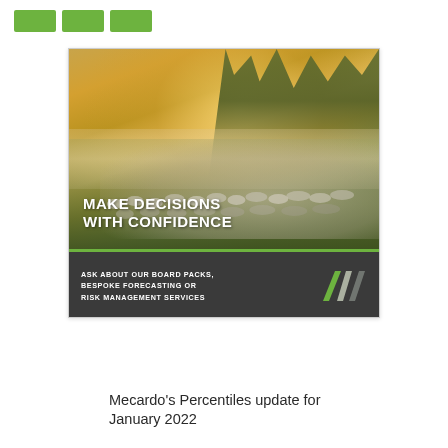[Figure (logo): Three green rectangular bars forming a logo at top left]
[Figure (photo): Advertisement image showing a herd of sheep in a misty pastoral landscape at sunrise/golden hour. Large white bold text reads MAKE DECISIONS WITH CONFIDENCE. Below a green stripe a dark grey banner reads ASK ABOUT OUR BOARD PACKS, BESPOKE FORECASTING OR RISK MANAGEMENT SERVICES with a Mecardo logo (stylized M in green and grey) at the right.]
Mecardo's Percentiles update for January 2022